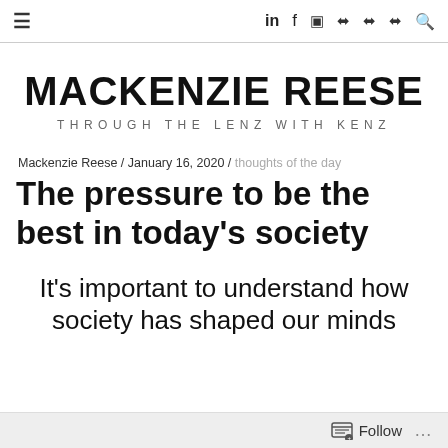≡ in f 📷 Share Share Share 🔍
MACKENZIE REESE
THROUGH THE LENZ WITH KENZ
Mackenzie Reese / January 16, 2020 / thoughts of the day
The pressure to be the best in today's society
It's important to understand how society has shaped our minds
Follow ...